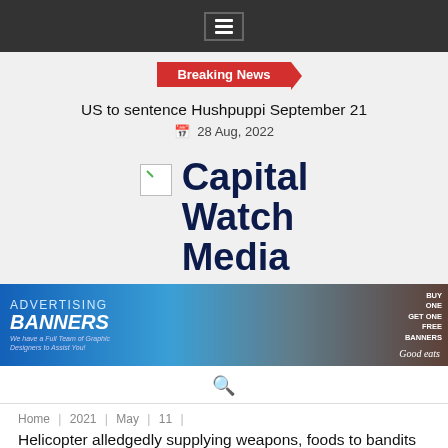Menu icon / navigation bar
Breaking News
US to sentence Hushpuppi September 21
28 Aug, 2022
Capital Watch Media
[Figure (infographic): Advertising Banners promotional banner: blue background with text 'ADVERTISING BANNERS We have a Full Team of Graphic Designers to Assist You!' with a computer monitor image and 'BUY ONE GET ONE FREE BANNERS Good eats' on the right side.]
Search icon
Home / 2021 / May / 11 /
Helicopter alledgedly supplying weapons, foods to bandits